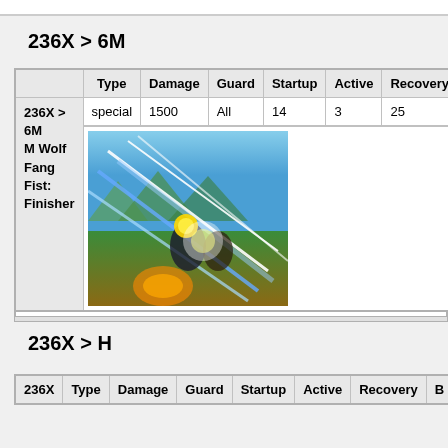236X > 6M
| 236X > 6M M Wolf Fang Fist: Finisher | Type | Damage | Guard | Startup | Active | Recovery |
| --- | --- | --- | --- | --- | --- | --- |
|  | special | 1500 | All | 14 | 3 | 25 |
236X > H
| 236X | Type | Damage | Guard | Startup | Active | Recovery | B |
| --- | --- | --- | --- | --- | --- | --- | --- |